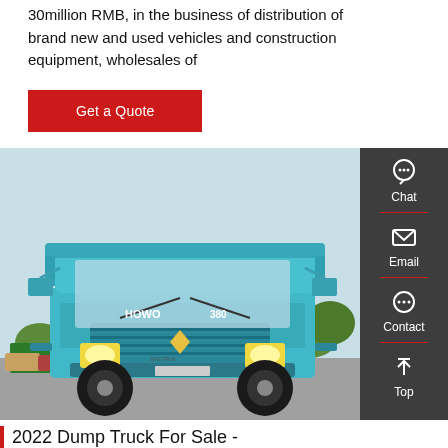30million RMB, in the business of distribution of brand new and used vehicles and construction equipment, wholesales of
Get a Quote
[Figure (photo): Front view of a teal/turquoise HOWO dump truck parked outdoors, with other vehicles visible in the background.]
Chat
Email
Contact
Top
2022 Dump Truck For Sale - german.alibaba.com